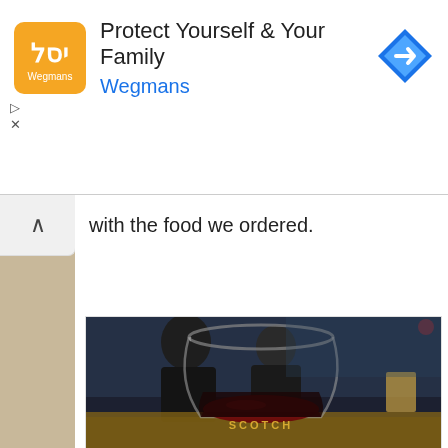[Figure (screenshot): Wegmans advertisement banner with logo, title 'Protect Yourself & Your Family', subtitle 'Wegmans', and a blue navigation/direction icon on the right. Play and close controls on left side.]
with the food we ordered.
[Figure (photo): A close-up photo of a stemless wine glass with red wine, branded 'SCOTCH' on the glass. In the background, a person in a dark hoodie is seated at a wooden table in a dimly lit restaurant/bar setting.]